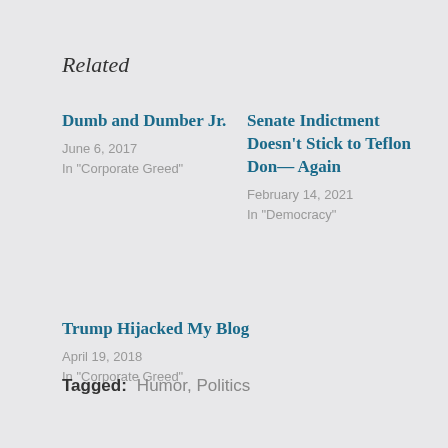Related
Dumb and Dumber Jr.
June 6, 2017
In "Corporate Greed"
Senate Indictment Doesn’t Stick to Teflon Don— Again
February 14, 2021
In "Democracy"
Trump Hijacked My Blog
April 19, 2018
In "Corporate Greed"
Tagged:   Humor,  Politics